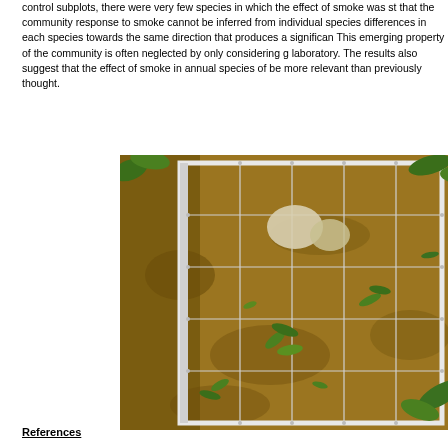control subplots, there were very few species in which the effect of smoke was st... that the community response to smoke cannot be inferred from individual species... differences in each species towards the same direction that produces a significan... This emerging property of the community is often neglected by only considering g... laboratory. The results also suggest that the effect of smoke in annual species of... be more relevant than previously thought.
[Figure (photo): Top-down photograph of a field subplot with a white rectangular grid frame laid on bare soil and low vegetation (seedlings and small plants). The grid divides the subplot into equal cells. Several plant species are visible, mostly small seedlings and a few larger leafy plants. A light-colored rock or object is visible near the center-top.]
References